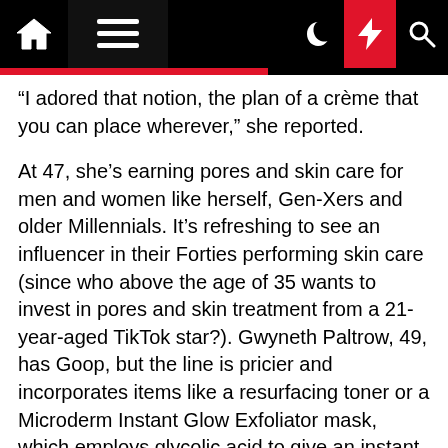[Navigation bar with home, menu, dark mode, lightning, and search icons]
“I adored that notion, the plan of a crème that you can place wherever,” she reported.
At 47, she’s earning pores and skin care for men and women like herself, Gen-Xers and older Millennials. It’s refreshing to see an influencer in their Forties performing skin care (since who above the age of 35 wants to invest in pores and skin treatment from a 21-year-aged TikTok star?). Gwyneth Paltrow, 49, has Goop, but the line is pricier and incorporates items like a resurfacing toner or a Microderm Instant Glow Exfoliator mask, which employs glycolic acid to give an instant “glow.” An fast final result has its location, but not anyone wants to resurface or exfoliate so normally.
Will the notion resonate? Manner and magnificence